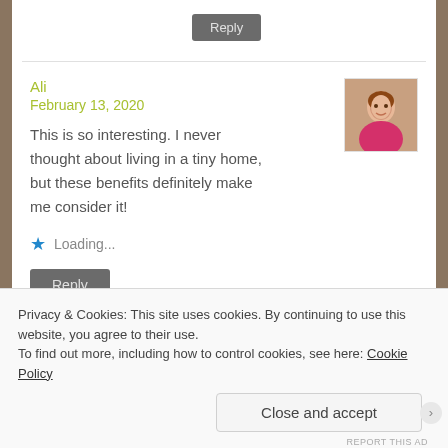Reply
Ali
February 13, 2020
This is so interesting. I never thought about living in a tiny home, but these benefits definitely make me consider it!
Loading...
Reply
Privacy & Cookies: This site uses cookies. By continuing to use this website, you agree to their use.
To find out more, including how to control cookies, see here: Cookie Policy
Close and accept